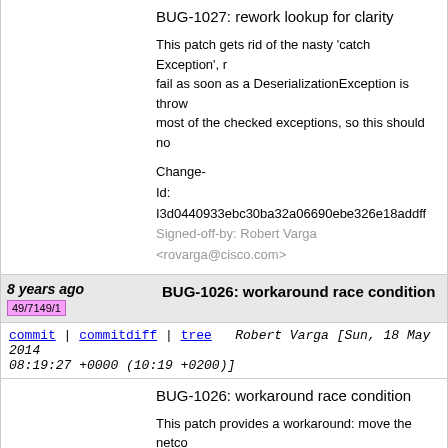BUG-1027: rework lookup for clarity
This patch gets rid of the nasty 'catch Exception', r... fail as soon as a DeserializationException is throw... most of the checked exceptions, so this should no...
Change-Id: I3d0440933ebc30ba32a06690ebe326e18addff... Signed-off-by: Robert Varga <rovarga@cisco.com>
8 years ago
49/7149/1
BUG-1026: workaround race condition
commit | commitdiff | tree   Robert Varga [Sun, 18 May 2014 08:19:27 +0000 (10:19 +0200)]
BUG-1026: workaround race condition
This patch provides a workaround: move the netco... connector config past any other configuration that may be present, such... last. This will ensure that any models referenced h... by the time the mount instance is announced.
Change-Id: Iba3587806932c307474e708209a39cba1d63e... Signed-off-by: Robert Varga <rovarga@cisco.com>